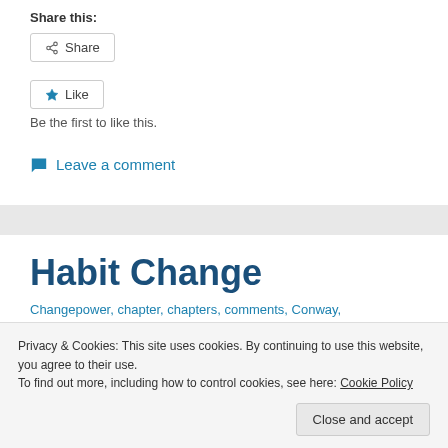Share this:
Share
Like
Be the first to like this.
Leave a comment
Habit Change
Privacy & Cookies: This site uses cookies. By continuing to use this website, you agree to their use.
To find out more, including how to control cookies, see here: Cookie Policy
Close and accept
Changepower, chapter, chapters, comments, Conway, courage, Covey, David, decision, denial, description